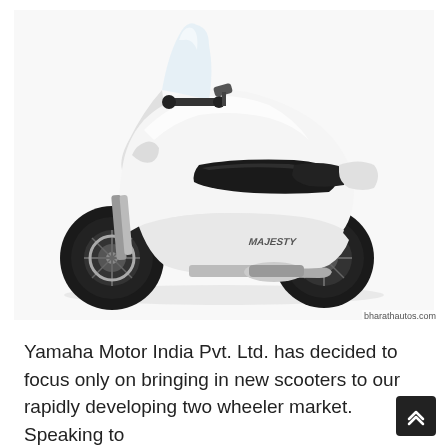[Figure (photo): Side profile photo of a white Yamaha Majesty large scooter on a white background. The scooter has a large windshield, dual seat, and black wheels.]
bharathautos.com
Yamaha Motor India Pvt. Ltd. has decided to focus only on bringing in new scooters to our rapidly developing two wheeler market. Speaking to